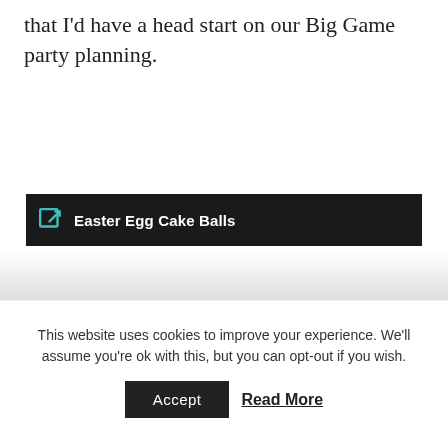that I'd have a head start on our Big Game party planning.
Easter Egg Cake Balls
[Figure (other): Faded image area below the Easter Egg Cake Balls link bar]
This website uses cookies to improve your experience. We'll assume you're ok with this, but you can opt-out if you wish.
Accept   Read More